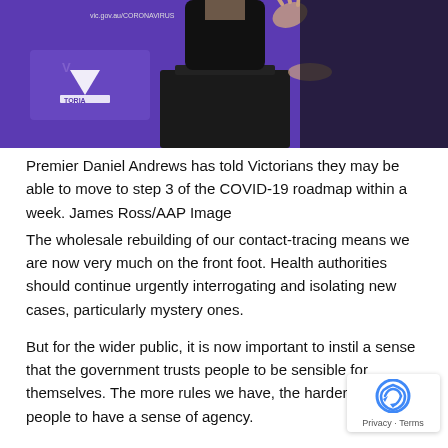[Figure (photo): Premier Daniel Andrews at a podium with microphones, Victoria government backdrop, person gesturing with hand raised]
Premier Daniel Andrews has told Victorians they may be able to move to step 3 of the COVID-19 roadmap within a week. James Ross/AAP Image
The wholesale rebuilding of our contact-tracing means we are now very much on the front foot. Health authorities should continue urgently interrogating and isolating new cases, particularly mystery ones.
But for the wider public, it is now important to instil a sense that the government trusts people to be sensible for themselves. The more rules we have, the harder it is for people to have a sense of agency.